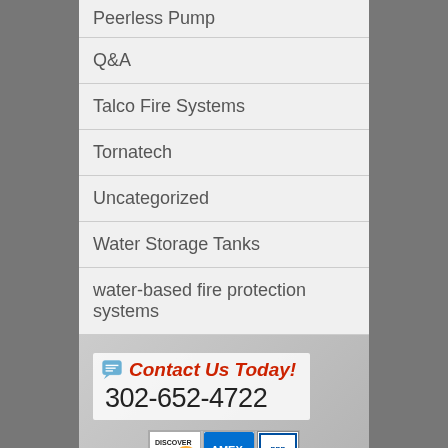Peerless Pump
Q&A
Talco Fire Systems
Tornatech
Uncategorized
Water Storage Tanks
water-based fire protection systems
Contact Us Today! 302-652-4722
[Figure (logo): Payment method logos: Discover, AMEX, Visa, MasterCard, and BBB Accredited Business logo]
© 2022 Steven Brown & Associates, all rights reserved. Web design by Sharp Innovations, inc.
terms & conditions | contact us | sitemap